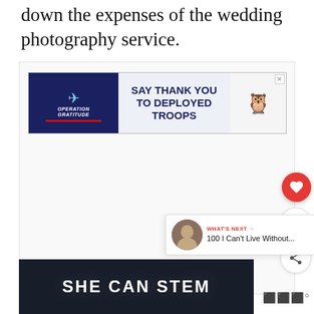down the expenses of the wedding photography service.
[Figure (screenshot): Operation Gratitude advertisement banner: 'SAY THANK YOU TO DEPLOYED TROOPS' with logo and owl/soldier illustration]
[Figure (screenshot): Floating UI elements: heart/like button (red), count showing 1, and share button]
[Figure (screenshot): What's Next panel with avatar and text '100 I Can't Live Without...']
[Figure (screenshot): SHE CAN STEM advertisement banner at bottom with dark background]